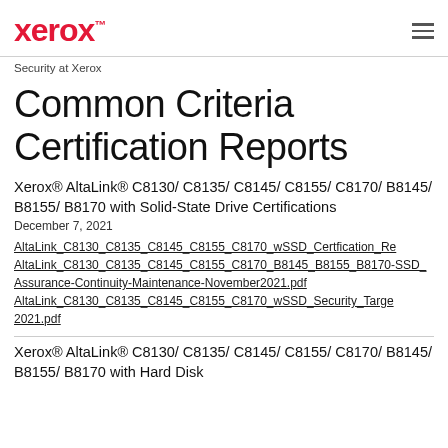Xerox™ [logo] | menu icon
Security at Xerox
Common Criteria Certification Reports
Xerox® AltaLink® C8130/ C8135/ C8145/ C8155/ C8170/ B8145/ B8155/ B8170 with Solid-State Drive Certifications
December 7, 2021
AltaLink_C8130_C8135_C8145_C8155_C8170_wSSD_Certfication_Re...
AltaLink_C8130_C8135_C8145_C8155_C8170_B8145_B8155_B8170-SSD_Assurance-Continuity-Maintenance-November2021.pdf
AltaLink_C8130_C8135_C8145_C8155_C8170_wSSD_Security_Targe...2021.pdf
Xerox® AltaLink® C8130/ C8135/ C8145/ C8155/ C8170/ B8145/ B8155/ B8170 with Hard Disk